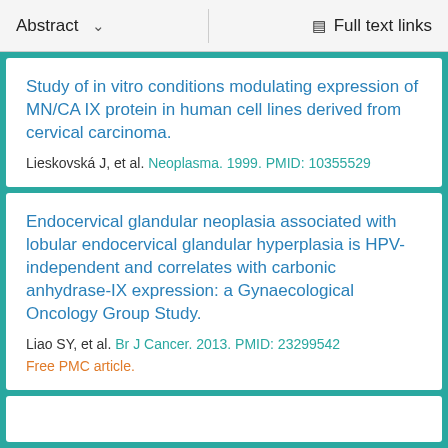Abstract   ∨   Full text links
Study of in vitro conditions modulating expression of MN/CA IX protein in human cell lines derived from cervical carcinoma.
Lieskovská J, et al. Neoplasma. 1999. PMID: 10355529
Endocervical glandular neoplasia associated with lobular endocervical glandular hyperplasia is HPV-independent and correlates with carbonic anhydrase-IX expression: a Gynaecological Oncology Group Study.
Liao SY, et al. Br J Cancer. 2013. PMID: 23299542
Free PMC article.